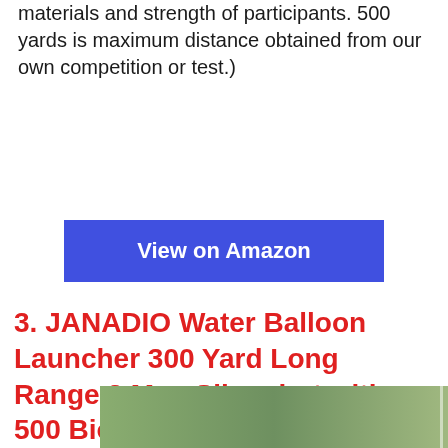materials and strength of participants. 500 yards is maximum distance obtained from our own competition or test.)
[Figure (other): Blue 'View on Amazon' button]
3. JANADIO Water Balloon Launcher 300 Yard Long Range,3 Man Slingshot with 500 Biodegradable Water Balloons ,Giant Slingshot T-Shirt Launcher Cannons,Party Game Yard Toys for Kids and Aldults
[Figure (photo): Partial photo strip showing outdoor scene with people]